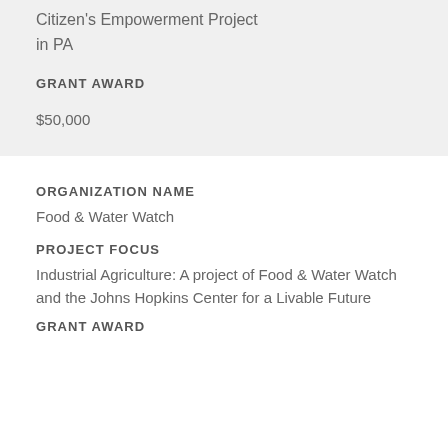Citizen's Empowerment Project in PA
GRANT AWARD
$50,000
ORGANIZATION NAME
Food & Water Watch
PROJECT FOCUS
Industrial Agriculture: A project of Food & Water Watch and the Johns Hopkins Center for a Livable Future
GRANT AWARD